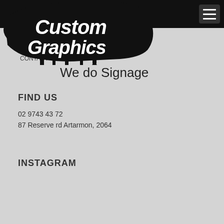Large Format Printing
[Figure (logo): Custom Graphics logo with dripping graffiti-style white text on black splash background]
PRODUCTS
FAQ
CONTACT US
We do Signage
FIND US
02 9743 43 72
87 Reserve rd Artarmon, 2064
INSTAGRAM